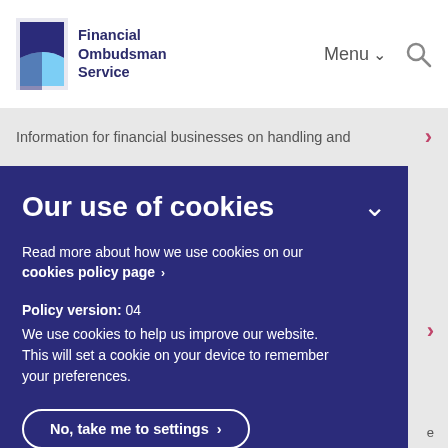Financial Ombudsman Service
Information for financial businesses on handling and
Our use of cookies
Read more about how we use cookies on our cookies policy page >
Policy version: 04
We use cookies to help us improve our website. This will set a cookie on your device to remember your preferences.
No, take me to settings >
Accept and close >